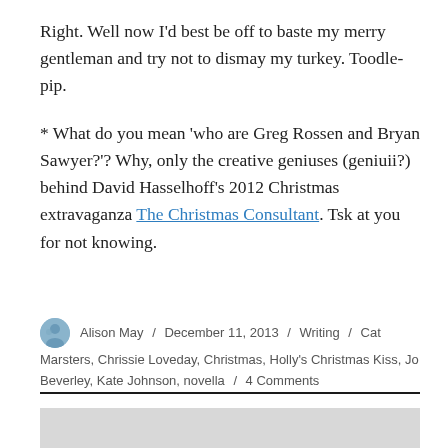Right. Well now I'd best be off to baste my merry gentleman and try not to dismay my turkey. Toodle-pip.
* What do you mean 'who are Greg Rossen and Bryan Sawyer?'? Why, only the creative geniuses (geniuii?) behind David Hasselhoff's 2012 Christmas extravaganza The Christmas Consultant. Tsk at you for not knowing.
Alison May / December 11, 2013 / Writing / Cat Marsters, Chrissie Loveday, Christmas, Holly's Christmas Kiss, Jo Beverley, Kate Johnson, novella / 4 Comments